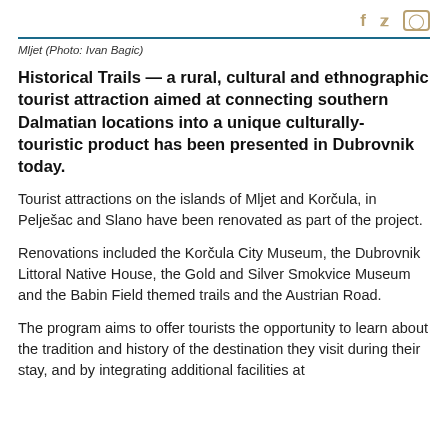f  🐦  ⬜
Mljet (Photo: Ivan Bagic)
Historical Trails — a rural, cultural and ethnographic tourist attraction aimed at connecting southern Dalmatian locations into a unique culturally- touristic product has been presented in Dubrovnik today.
Tourist attractions on the islands of Mljet and Korčula, in Pelješac and Slano have been renovated as part of the project.
Renovations included the Korčula City Museum, the Dubrovnik Littoral Native House, the Gold and Silver Smokvice Museum and the Babin Field themed trails and the Austrian Road.
The program aims to offer tourists the opportunity to learn about the tradition and history of the destination they visit during their stay, and by integrating additional facilities at